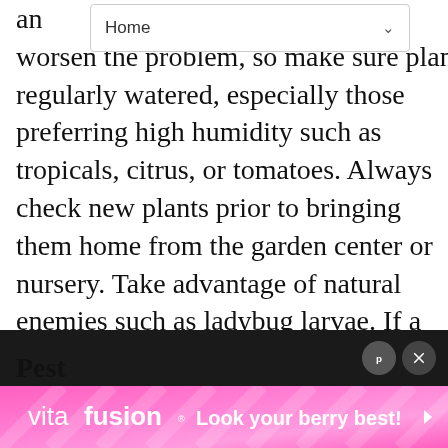Home
and worsen the problem, so make sure plants are regularly watered, especially those preferring high humidity such as tropicals, citrus, or tomatoes. Always check new plants prior to bringing them home from the garden center or nursery. Take advantage of natural enemies such as ladybug larvae. If a miticide is recommended by your local garden center professional or county Cooperative Extension office, read and follow all label directions. Concentrate your efforts on the underside of the leaves as that is where spider mites generally live.
[Figure (screenshot): Website UI overlay with heart/save button (teal circle with heart), share button (teal circle with share icon), What's Next arrow linking to American Primrose article with thumbnail]
[Figure (photo): Vitafusion advertisement banner with pink gradient background: vitafusion logo and tagline 'Look your berry best!']
Pest